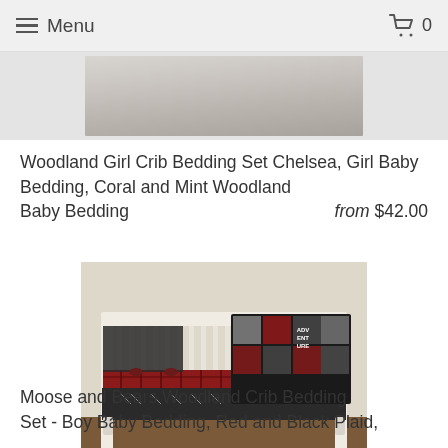Menu  0
[Figure (photo): Top portion of a crib bedding product photo, cropped at top of page]
Woodland Girl Crib Bedding Set Chelsea, Girl Baby Bedding, Coral and Mint Woodland Baby Bedding   from $42.00
[Figure (photo): Moose and Bears Woodland Crib Bedding Set with red and black plaid fitted sheet, dark arrow print crib skirt, patchwork quilt with woodland animals and adventure text, bow ties on bumper]
Moose and Bears Woodland Crib Bedding Set - Boy Baby Bedding, Red and Black Plaid,